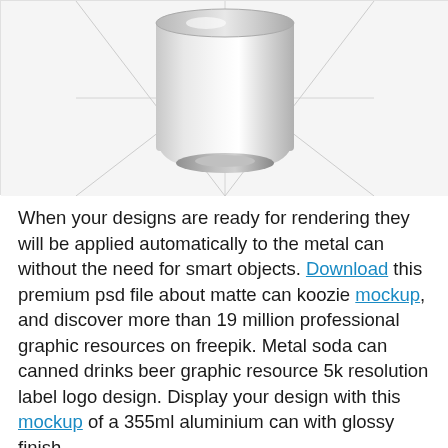[Figure (illustration): A silver/white metal soda can viewed from above/side angle on a light gray background with perspective guide lines (X pattern). The bottom of the can and its circular base are visible, rendered in a clean product mockup style.]
When your designs are ready for rendering they will be applied automatically to the metal can without the need for smart objects. Download this premium psd file about matte can koozie mockup, and discover more than 19 million professional graphic resources on freepik. Metal soda can canned drinks beer graphic resource 5k resolution label logo design. Display your design with this mockup of a 355ml aluminium can with glossy finish.